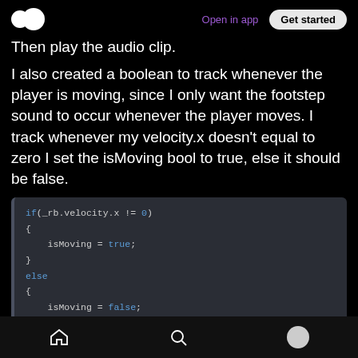Open in app  Get started
Then play the audio clip.
I also created a boolean to track whenever the player is moving, since I only want the footstep sound to occur whenever the player moves. I track whenever my velocity.x doesn’t equal to zero I set the isMoving bool to true, else it should be false.
[Figure (screenshot): Code block showing C# Unity code: if(_rb.velocity.x != 0) { isMoving = true; } else { isMoving = false; } if(isMoving == true && IsGrounded() == true) { if(_audioSource.isPlaying)]
Home  Search  Profile